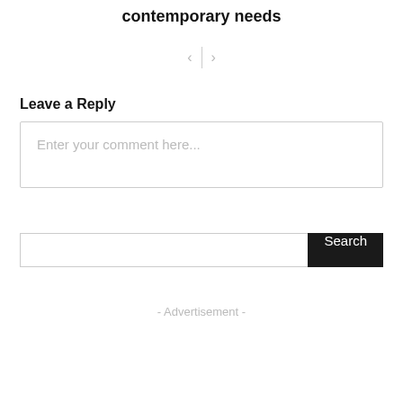contemporary needs
[Figure (other): Navigation arrows (left and right chevrons separated by a vertical line)]
Leave a Reply
Enter your comment here...
Search
- Advertisement -